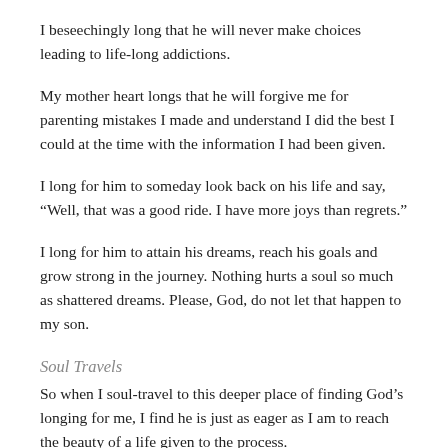I beseechingly long that he will never make choices leading to life-long addictions.
My mother heart longs that he will forgive me for parenting mistakes I made and understand I did the best I could at the time with the information I had been given.
I long for him to someday look back on his life and say, “Well, that was a good ride. I have more joys than regrets.”
I long for him to attain his dreams, reach his goals and grow strong in the journey. Nothing hurts a soul so much as shattered dreams. Please, God, do not let that happen to my son.
Soul Travels
So when I soul-travel to this deeper place of finding God’s longing for me, I find he is just as eager as I am to reach the beauty of a life given to the process.
It is not so much the goal or the answer to the question that